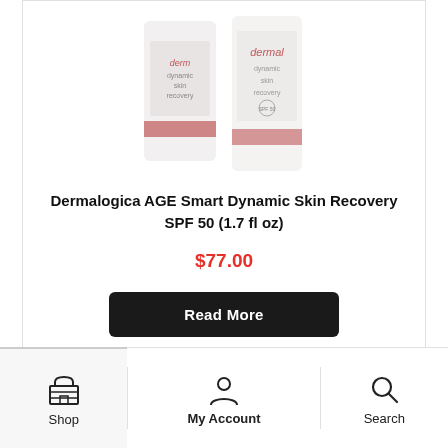[Figure (photo): Dermalogica product bottles - AGE Smart Dynamic Skin Recovery SPF 50, two white/pink bottles shown partially cropped at top]
Dermalogica AGE Smart Dynamic Skin Recovery SPF 50 (1.7 fl oz)
$77.00
Read More
Shop | My Account | Search